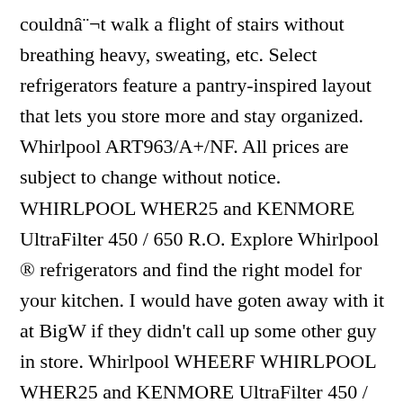couldnâ¨¬t walk a flight of stairs without breathing heavy, sweating, etc. Select refrigerators feature a pantry-inspired layout that lets you store more and stay organized. Whirlpool ART963/A+/NF. All prices are subject to change without notice. WHIRLPOOL WHER25 and KENMORE UltraFilter 450 / 650 R.O. Explore Whirlpool ® refrigerators and find the right model for your kitchen. I would have goten away with it at BigW if they didn't call up some other guy in store. Whirlpool WHEERF WHIRLPOOL WHER25 and KENMORE UltraFilter 450 / 650 R.O. Fridge net capacity: 237 L, Fridge interior light, Fridge number of shelves/baskets: 5.